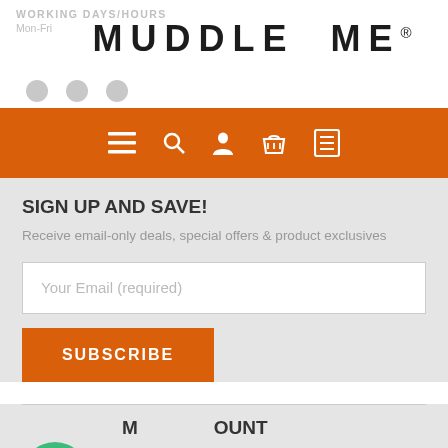WORKING DAYS/HOURS
[Figure (logo): MUDDLE ME® logo in large bold black letters]
Mon-Fri
[Figure (screenshot): Orange navigation bar with hamburger menu, search, user, basket, and list icons]
SIGN UP AND SAVE!
Receive email-only deals, special offers & product exclusives
Your Email (required)
SUBSCRIBE
MY ACCOUNT
Login
Register